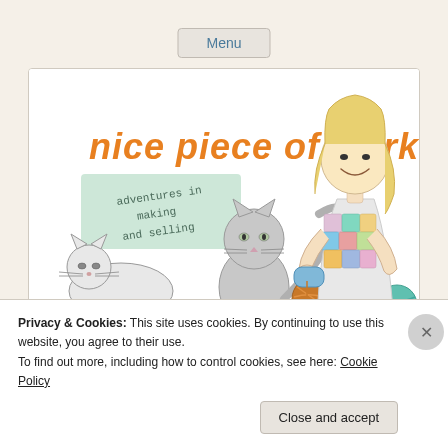Menu
[Figure (illustration): Blog header illustration for 'nice piece of work — adventures in making and selling'. Shows a blonde girl holding yarn/knitting, two cartoon cats, and balls of colorful yarn on a white background.]
Privacy & Cookies: This site uses cookies. By continuing to use this website, you agree to their use.
To find out more, including how to control cookies, see here: Cookie Policy
Close and accept